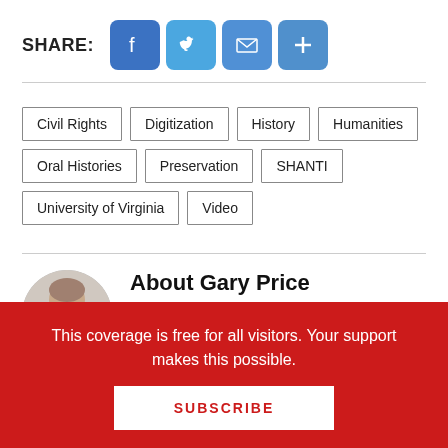SHARE: [Facebook] [Twitter] [Email] [Plus]
Civil Rights
Digitization
History
Humanities
Oral Histories
Preservation
SHANTI
University of Virginia
Video
About Gary Price
Gary Price (gprice@gmail.com) is a
This coverage is free for all visitors. Your support makes this possible.
SUBSCRIBE